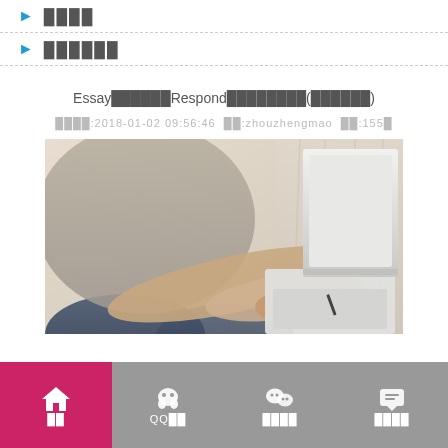████
██████
Essay██████Respond████████(██████)
████:2018-01-02 09:56:46  ██:zhouzhengmao  ██:155█
[Figure (photo): Person sitting cross-legged typing on a laptop computer]
██  QQ██  ████  ████